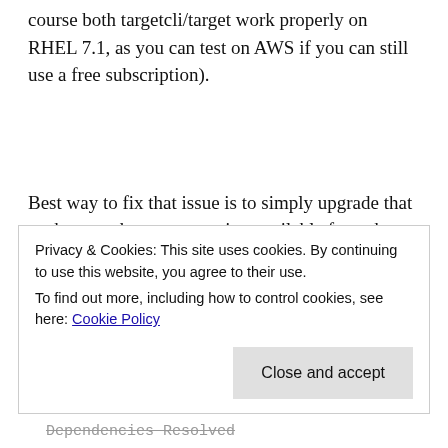course both targetcli/target work properly on RHEL 7.1, as you can test on AWS if you can still use a free subscription).
Best way to fix that issue is to simply upgrade that package to the newer version available from the repository:
yum update -y python-six
Privacy & Cookies: This site uses cookies. By continuing to use this website, you agree to their use.
To find out more, including how to control cookies, see here: Cookie Policy
Close and accept
Dependencies Resolved